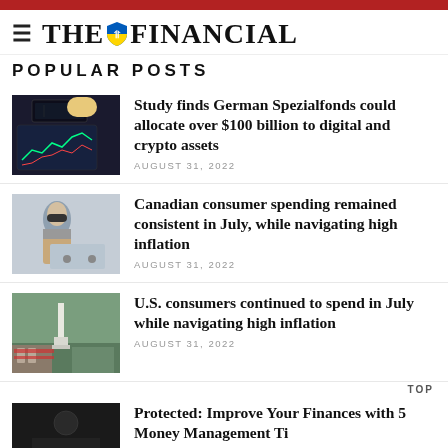THE FINANCIAL
POPULAR POSTS
[Figure (photo): Person typing on laptop with financial charts on screen]
Study finds German Spezialfonds could allocate over $100 billion to digital and crypto assets
AUGUST 31, 2022
[Figure (photo): Person wearing mask shopping with cart in store]
Canadian consumer spending remained consistent in July, while navigating high inflation
AUGUST 31, 2022
[Figure (photo): People with American flag near Washington Monument]
U.S. consumers continued to spend in July while navigating high inflation
AUGUST 31, 2022
TOP
[Figure (photo): Dark image partially visible at bottom]
Protected: Improve Your Finances with 5 Money Management Ti...